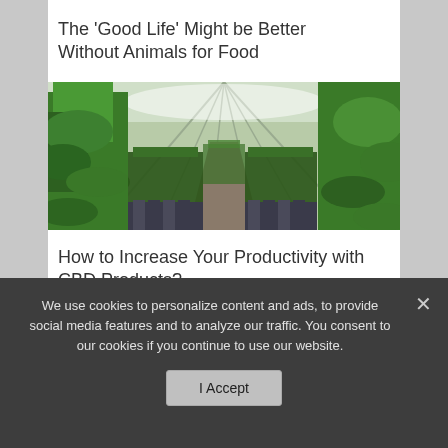The ‘Good Life’ Might be Better Without Animals for Food
[Figure (photo): Interior of a greenhouse with rows of green plants growing under a glass roof, with agricultural equipment visible in the rows]
How to Increase Your Productivity with CBD Products?
We use cookies to personalize content and ads, to provide social media features and to analyze our traffic. You consent to our cookies if you continue to use our website.